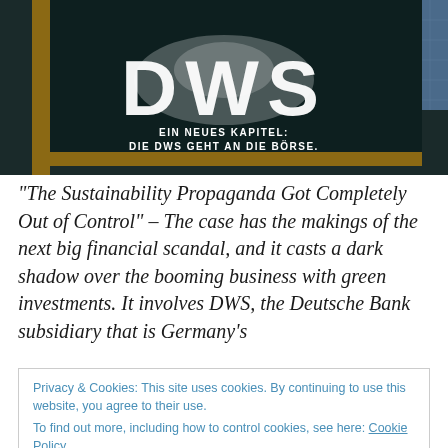[Figure (photo): Photo of a DWS building sign with the text 'EIN NEUES KAPITEL: DIE DWS GEHT AN DIE BÖRSE.' visible on a dark reflective surface with a glass building in the background.]
“The Sustainability Propaganda Got Completely Out of Control” – The case has the makings of the next big financial scandal, and it casts a dark shadow over the booming business with green investments. It involves DWS, the Deutsche Bank subsidiary that is Germany’s
Privacy & Cookies: This site uses cookies. By continuing to use this website, you agree to their use.
To find out more, including how to control cookies, see here: Cookie Policy
[Close and accept]
was appropriate for its investment policy.